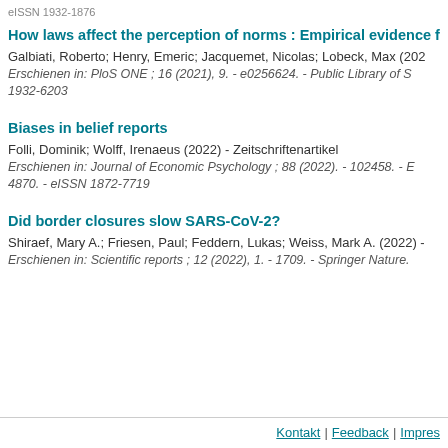eISSN 1932-1876
How laws affect the perception of norms : Empirical evidence f...
Galbiati, Roberto; Henry, Emeric; Jacquemet, Nicolas; Lobeck, Max (202...)
Erschienen in: PloS ONE ; 16 (2021), 9. - e0256624. - Public Library of S... 1932-6203
Biases in belief reports
Folli, Dominik; Wolff, Irenaeus (2022) - Zeitschriftenartikel
Erschienen in: Journal of Economic Psychology ; 88 (2022). - 102458. - E... 4870. - eISSN 1872-7719
Did border closures slow SARS-CoV-2?
Shiraef, Mary A.; Friesen, Paul; Feddern, Lukas; Weiss, Mark A. (2022) -
Erschienen in: Scientific reports ; 12 (2022), 1. - 1709. - Springer Nature.
Kontakt | Feedback | Impres...